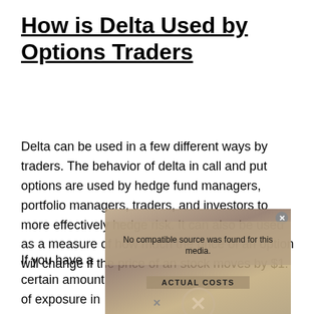How is Delta Used by Options Traders
Delta can be used in a few different ways by traders. The behavior of delta in call and put options are used by hedge fund managers, portfolio managers, traders, and investors to more effectively hedge risk. It can also be used as a measure of how much the price of an option will change if the price of an stock moves by $1.
[Figure (screenshot): A video player overlay showing 'No compatible source was found for this media.' with an X button to close, an ACTUAL COSTS label, and a 'What is Actual Cost?' banner at the bottom. The background shows coins and financial items.]
If you have a certain amount of exposure in an individual stock and you want to hedge your risk, you can do so by being aware of how your